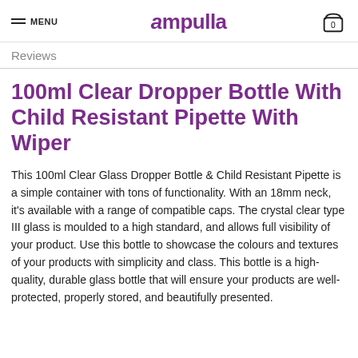MENU | Ampulla | 0
Reviews
100ml Clear Dropper Bottle With Child Resistant Pipette With Wiper
This 100ml Clear Glass Dropper Bottle & Child Resistant Pipette is a simple container with tons of functionality. With an 18mm neck, it’s available with a range of compatible caps. The crystal clear type III glass is moulded to a high standard, and allows full visibility of your product. Use this bottle to showcase the colours and textures of your products with simplicity and class. This bottle is a high-quality, durable glass bottle that will ensure your products are well-protected, properly stored, and beautifully presented.